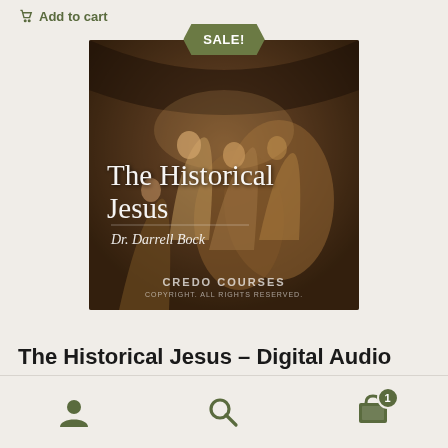Add to cart
[Figure (illustration): Product cover image for 'The Historical Jesus – Digital Audio' by Dr. Darrell Bock, showing a classical painting of biblical figures with a SALE badge overlay and Credo Courses watermark]
The Historical Jesus – Digital Audio